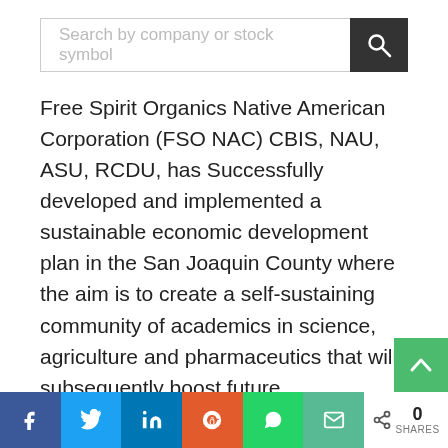[Figure (other): Search bar with placeholder text 'Search by company or stock symbol' and a dark search button with magnifying glass icon]
Free Spirit Organics Native American Corporation (FSO NAC) CBIS, NAU, ASU, RCDU, has Successfully developed and implemented a sustainable economic development plan in the San Joaquin County where the aim is to create a self-sustaining community of academics in science, agriculture and pharmaceutics that will subsequently boost future development, medical advancement, and legal process for the company. Part of the development plan includes planting and harvesting 250-acres of industrial hemp and establishing the American State University (AS… to provide students with a unique hybrid of online, in class, and field education for 37 state approved certification and
[Figure (other): Social sharing bar with Facebook, Twitter, LinkedIn, Reddit, WhatsApp, Email buttons and share count showing 0 SHARES]